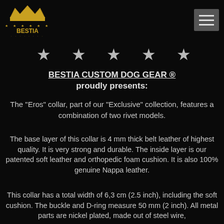BESTIA [logo] | hamburger menu
[Figure (illustration): Five white/grey star icons in a row on black background]
BESTIA CUSTOM DOG GEAR ® proudly presents:
The "Eros" collar, part of our "Exclusive" collection, features a combination of two rivet models.
The base layer of this collar is 4 mm thick belt leather of highest quality. It is very strong and durable. The inside layer is our patented soft leather and orthopedic foam cushion. It is also 100% genuine Nappa leather.
This collar has a total width of 6,3 cm (2.5 inch), including the soft cushion. The buckle and D-ring measure 50 mm (2 inch). All metal parts are nickel plated, made out of steel wire,